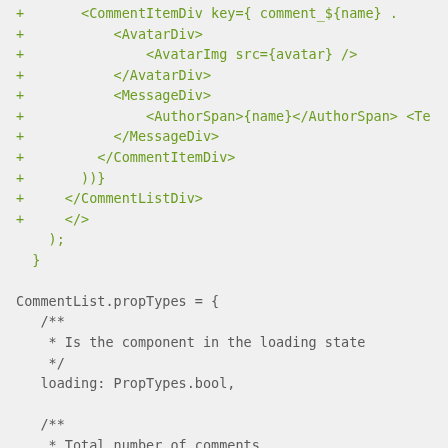[Figure (screenshot): Code diff/snippet screenshot showing JSX component code with green added lines (prefixed with +) and normal code lines, including CommentItemDiv, AvatarDiv, AvatarImg, MessageDiv, AuthorSpan, CommentListDiv, closing tags, and PropTypes definition with JSDoc comments for loading and total number of comments properties.]